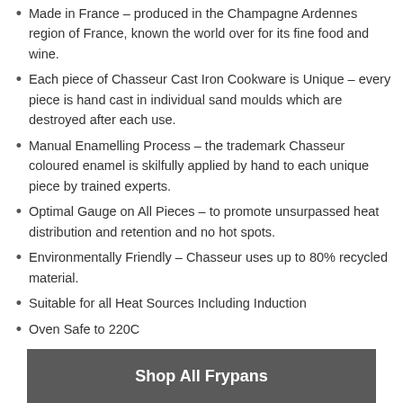Made in France – produced in the Champagne Ardennes region of France, known the world over for its fine food and wine.
Each piece of Chasseur Cast Iron Cookware is Unique – every piece is hand cast in individual sand moulds which are destroyed after each use.
Manual Enamelling Process – the trademark Chasseur coloured enamel is skilfully applied by hand to each unique piece by trained experts.
Optimal Gauge on All Pieces – to promote unsurpassed heat distribution and retention and no hot spots.
Environmentally Friendly – Chasseur uses up to 80% recycled material.
Suitable for all Heat Sources Including Induction
Oven Safe to 220C
Shop All Frypans